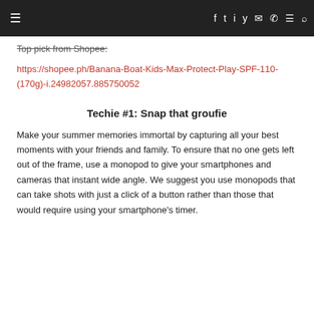Navigation bar with hamburger menu and social icons
Top pick from Shopee:
https://shopee.ph/Banana-Boat-Kids-Max-Protect-Play-SPF-110-(170g)-i.24982057.885750052
Techie #1: Snap that groufie
Make your summer memories immortal by capturing all your best moments with your friends and family. To ensure that no one gets left out of the frame, use a monopod to give your smartphones and cameras that instant wide angle. We suggest you use monopods that can take shots with just a click of a button rather than those that would require using your smartphone's timer.